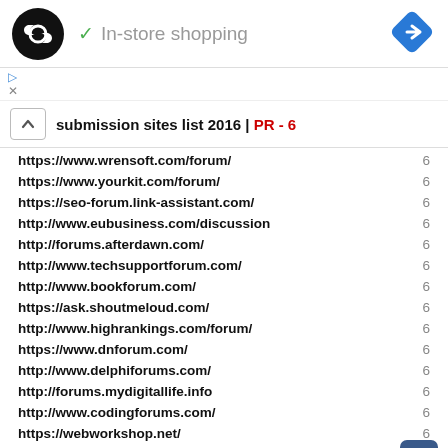[Figure (logo): Black circular logo with infinity/chain link symbol, In-store shopping label with checkmark, blue diamond navigation icon]
submission sites list 2016 | PR - 6
https://www.wrensoft.com/forum/  6
https://www.yourkit.com/forum/  6
https://seo-forum.link-assistant.com/  6
http://www.eubusiness.com/discussion  6
http://forums.afterdawn.com/  6
http://www.techsupportforum.com/  6
http://www.bookforum.com/  6
https://ask.shoutmeloud.com/  6
http://www.highrankings.com/forum/  6
https://www.dnforum.com/  6
http://www.delphiforums.com/  6
http://forums.mydigitallife.info  6
http://www.codingforums.com/  6
https://webworkshop.net/  6